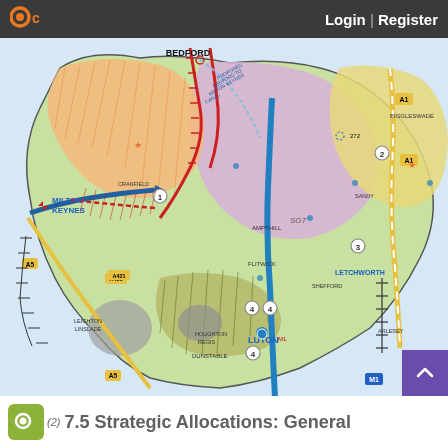Login | Register
[Figure (map): Strategic allocations map showing proposed development areas in Central Bedfordshire including Bedford, Luton, Milton Keynes, and Letchworth. Shows new villages, town expansions, and employment sites with colour-coded zones and numbered markers.]
7.5 Strategic Allocations: General